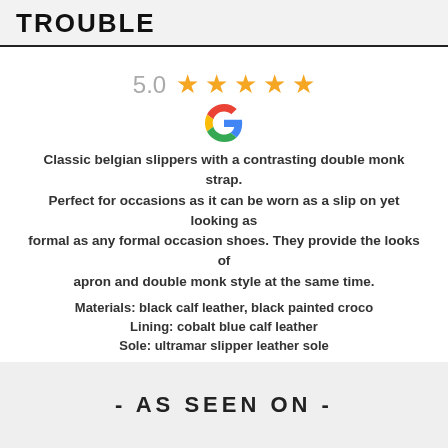TROUBLE
[Figure (infographic): 5.0 star rating with five orange stars and Google logo]
Classic belgian slippers with a contrasting double monk strap. Perfect for occasions as it can be worn as a slip on yet looking as formal as any formal occasion shoes. They provide the looks of apron and double monk style at the same time.
Materials: black calf leather, black painted croco
Lining: cobalt blue calf leather
Sole: ultramar slipper leather sole
- AS SEEN ON -